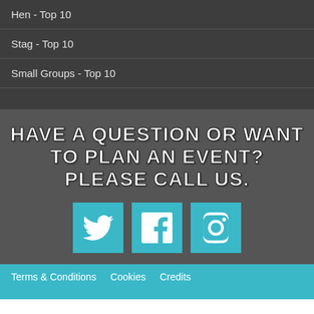Hen - Top 10
Stag - Top 10
Small Groups - Top 10
HAVE A QUESTION OR WANT TO PLAN AN EVENT? PLEASE CALL US.
[Figure (infographic): Three teal social media icon buttons: Twitter bird icon, Facebook 'f' icon, Instagram camera icon]
Terms & Conditions   Cookies   Credits